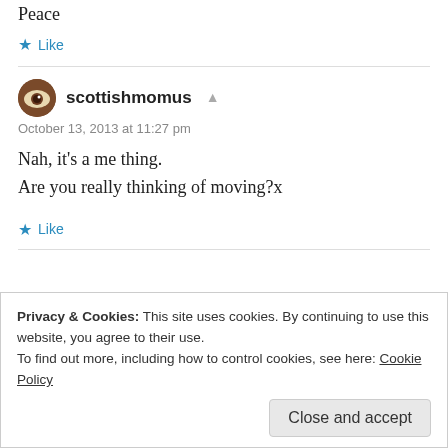Peace
Like
scottishmomus
October 13, 2013 at 11:27 pm
Nah, it's a me thing.
Are you really thinking of moving?x
Like
Privacy & Cookies: This site uses cookies. By continuing to use this website, you agree to their use.
To find out more, including how to control cookies, see here: Cookie Policy
Close and accept
at one time, but would have to keep Wizard (the